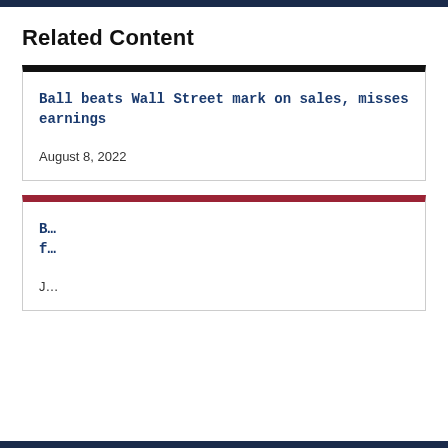Related Content
Ball beats Wall Street mark on sales, misses earnings
August 8, 2022
B... f...
J...
This website uses cookies to ensure you get the best experience on our website. Learn more
Deny
Allow